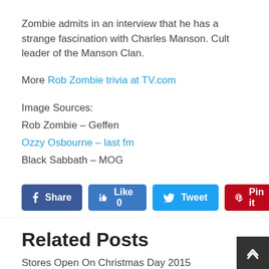Zombie admits in an interview that he has a strange fascination with Charles Manson. Cult leader of the Manson Clan.
More Rob Zombie trivia at TV.com
Image Sources:
Rob Zombie – Geffen
Ozzy Osbourne – last fm
Black Sabbath – MOG
[Figure (other): Social share buttons: Share (Facebook), Like 0 (Facebook), Tweet (Twitter), Pin it (Pinterest)]
Related Posts
Stores Open On Christmas Day 2015